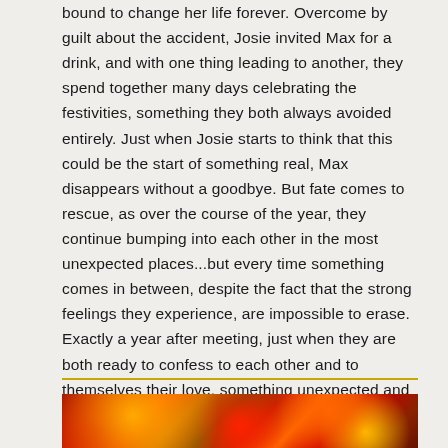bound to change her life forever. Overcome by guilt about the accident, Josie invited Max for a drink, and with one thing leading to another, they spend together many days celebrating the festivities, something they both always avoided entirely. Just when Josie starts to think that this could be the start of something real, Max disappears without a goodbye. But fate comes to rescue, as over the course of the year, they continue bumping into each other in the most unexpected places...but every time something comes in between, despite the fact that the strong feelings they experience, are impossible to erase. Exactly a year after meeting, just when they are both ready to confess to each other and to themselves their love, something unexpected and devastated happens. This will not put Josie at ease, but will at least explain why Max spent a full year running away from her.
[Figure (illustration): Colorful decorative image strip at the bottom showing red, orange, and yellow tones suggesting a festive or floral illustration.]